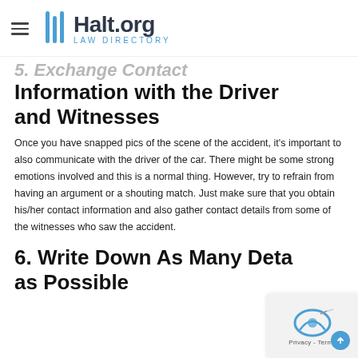Halt.org Law Directory
5. Exchange Contact Information with the Driver and Witnesses
Once you have snapped pics of the scene of the accident, it's important to also communicate with the driver of the car. There might be some strong emotions involved and this is a normal thing. However, try to refrain from having an argument or a shouting match. Just make sure that you obtain his/her contact information and also gather contact details from some of the witnesses who saw the accident.
6. Write Down As Many Details as Possible